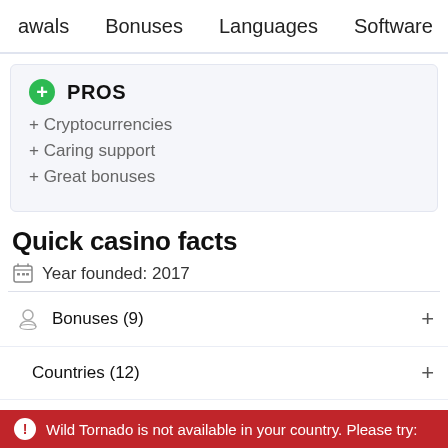awals   Bonuses   Languages   Software   Support
PROS
+ Cryptocurrencies
+ Caring support
+ Great bonuses
Quick casino facts
Year founded: 2017
Bonuses (9)
Countries (12)
Currencies (10)
Deposit methods (15)
Wild Tornado is not available in your country. Please try: